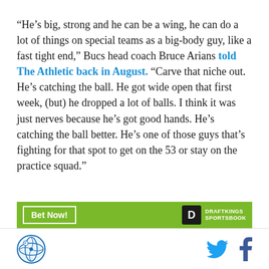“He’s big, strong and he can be a wing, he can do a lot of things on special teams as a big-body guy, like a fast tight end,” Bucs head coach Bruce Arians told The Athletic back in August. “Carve that niche out. He’s catching the ball. He got wide open that first week, (but) he dropped a lot of balls. I think it was just nerves because he’s got good hands. He’s catching the ball better. He’s one of those guys that’s fighting for that spot to get on the 53 or stay on the practice squad.”
[Figure (infographic): DraftKings Sportsbook advertisement banner with green background, Bet Now button and DraftKings logo]
Site logo and social media icons (Twitter, Facebook)